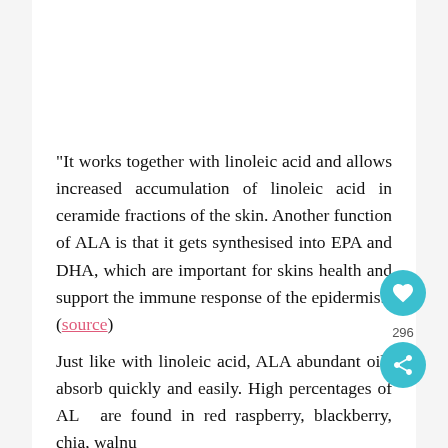“It works together with linoleic acid and allows increased accumulation of linoleic acid in ceramide fractions of the skin. Another function of ALA is that it gets synthesised into EPA and DHA, which are important for skins health and support the immune response of the epidermis.”(source)
Just like with linoleic acid, ALA abundant oils absorb quickly and easily. High percentages of ALA are found in red raspberry, blackberry, chia, walnut and flaxseed oil.